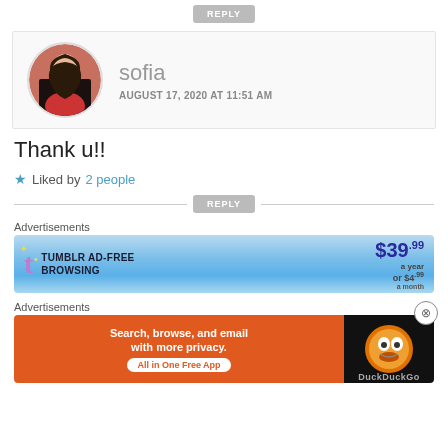[Figure (screenshot): REPLY button at top of page]
[Figure (photo): Comment block with circular avatar photo of Sofia (woman in red), username 'sofia', timestamp 'AUGUST 17, 2020 AT 11:51 AM']
Thank u!!
★ Liked by 2 people
[Figure (screenshot): REPLY button with horizontal line divider]
Advertisements
[Figure (screenshot): Tumblr AD-FREE BROWSING advertisement banner: $39.99 a year or $4.99 a month]
Advertisements
[Figure (screenshot): DuckDuckGo advertisement: Search, browse, and email with more privacy. All in One Free App]